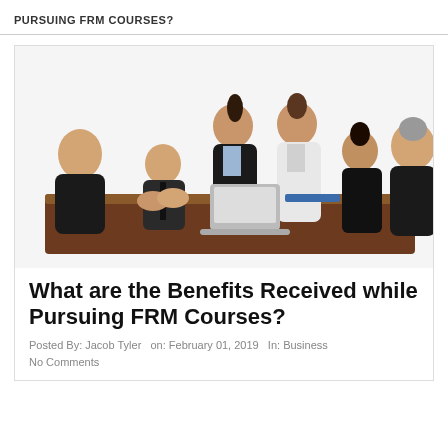PURSUING FRM COURSES?
[Figure (photo): Group of business professionals in formal attire around a conference table, two people shaking hands, laptop on table, white background.]
What are the Benefits Received while Pursuing FRM Courses?
Posted By: Jacob Tyler  on: February 01, 2019  In: Business  No Comments